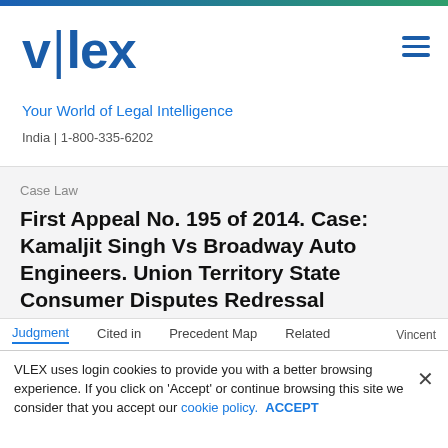vlex — Your World of Legal Intelligence | India | 1-800-335-6202
Case Law
First Appeal No. 195 of 2014. Case: Kamaljit Singh Vs Broadway Auto Engineers. Union Territory State Consumer Disputes Redressal Commission
Judgment   Cited in   Precedent Map   Related   Vincent
VLEX uses login cookies to provide you with a better browsing experience. If you click on 'Accept' or continue browsing this site we consider that you accept our cookie policy. ACCEPT